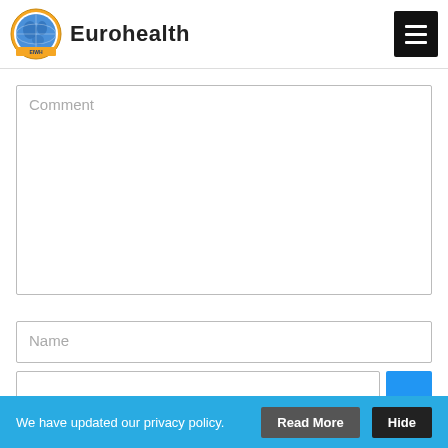Eurohealth
Comment
Name
We have updated our privacy policy.